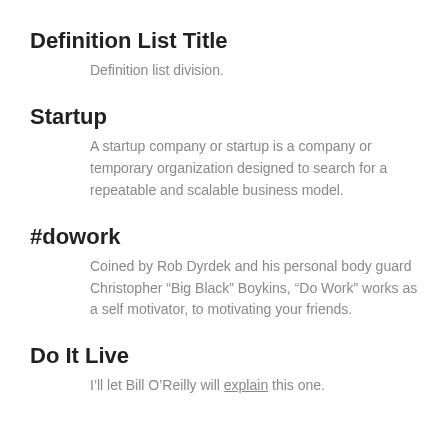Definition List Title
Definition list division.
Startup
A startup company or startup is a company or temporary organization designed to search for a repeatable and scalable business model.
#dowork
Coined by Rob Dyrdek and his personal body guard Christopher “Big Black” Boykins, “Do Work” works as a self motivator, to motivating your friends.
Do It Live
I’ll let Bill O’Reilly will explain this one.